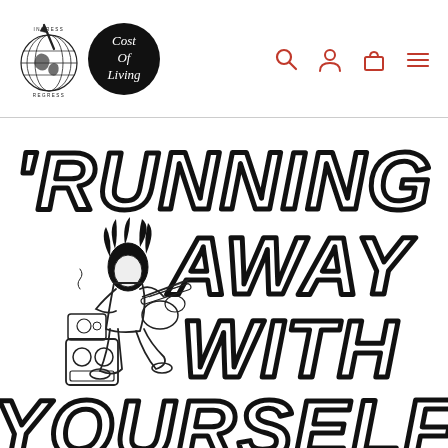[Figure (logo): Website header with globe logo labeled 'INGRESS REGRESS', a black circle logo reading 'Cost Of Living', and red navigation icons for search, account, cart, and menu on the right]
[Figure (illustration): Black and white hand-drawn illustration of a cartoon musician playing guitar with amplifiers, surrounded by bubble-letter text reading 'RUNNING AWAY WITH YOURSELF']